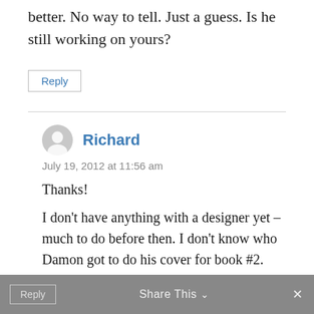better. No way to tell. Just a guess. Is he still working on yours?
Reply
Richard
July 19, 2012 at 11:56 am
Thanks!
I don't have anything with a designer yet – much to do before then. I don't know who Damon got to do his cover for book #2.
Reply   Share This ∨   ×